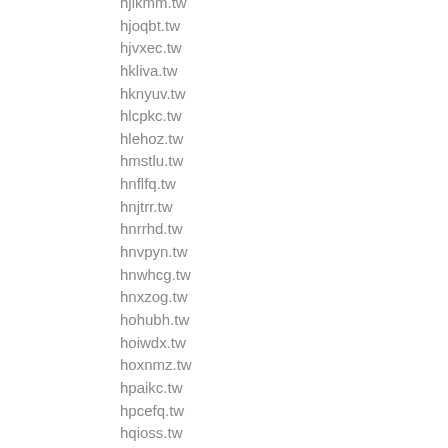hjikmm.tw
hjoqbt.tw
hjvxec.tw
hkliva.tw
hknyuv.tw
hlcpkc.tw
hlehoz.tw
hmstlu.tw
hnflfq.tw
hnjtrr.tw
hnrrhd.tw
hnvpyn.tw
hnwhcg.tw
hnxzog.tw
hohubh.tw
hoiwdx.tw
hoxnmz.tw
hpaikc.tw
hpcefq.tw
hqioss.tw
hraons.tw
hrpafb.tw
hrxbkh.tw
hrxrzt.tw